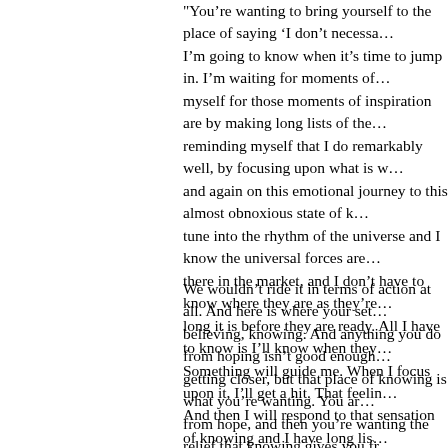"You're wanting to bring yourself to the place of saying 'I don't necessa... I'm going to know when it's time to jump in. I'm waiting for moments of... myself for those moments of inspiration are by making long lists of the... reminding myself that I do remarkably well, by focusing upon what is w... and again on this emotional journey to this almost obnoxious state of k... tune into the rhythm of the universe and I know the universal forces are... there in the market, and I don't have to know where they are as they're... long it is before they are ready. All I have to know is I'll know when they... Something will guide me. When I focus upon it, I'll get a hit. That feelin... And then I will respond to that sensation of knowing and I have long lis... success from doing that."
We wouldn't ride it in terms of action at all. And here is where your set... believing, knowing. And anything you do from hoping isn't good enough... getting closer, but that place of knowing is what you're wanting. You ar... from hope, and then you're wanting the relief that knowing gives you fr... ever in terms of action from anything less than a feeling of knowing. "I'... knowing. I'm so sure." Don't take action until you are in a knowing state... ever get. You'll never have a miss. And the more you don't have a miss... In other words, this is not trial and error, this is exact science. When yo... where you know it, the universe will feed you information about that co...
- Abraham Hicks (YouTube: Abraham Hicks ~ Playing the stock market...
“Think about what you want that is working, and the things you want th... Think about things that you want that feel good to you now, and the th...